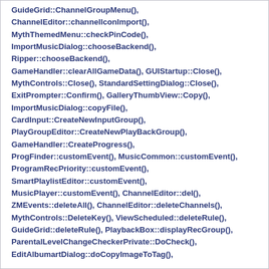GuideGrid::ChannelGroupMenu(), ChannelEditor::channelIconImport(), MythThemedMenu::checkPinCode(), ImportMusicDialog::chooseBackend(), Ripper::chooseBackend(), GameHandler::clearAllGameData(), GUIStartup::Close(), MythControls::Close(), StandardSettingDialog::Close(), ExitPrompter::Confirm(), GalleryThumbView::Copy(), ImportMusicDialog::copyFile(), CardInput::CreateNewInputGroup(), PlayGroupEditor::CreateNewPlayBackGroup(), GameHandler::CreateProgress(), ProgFinder::customEvent(), MusicCommon::customEvent(), ProgramRecPriority::customEvent(), SmartPlaylistEditor::customEvent(), MusicPlayer::customEvent(), ChannelEditor::del(), ZMEvents::deleteAll(), ChannelEditor::deleteChannels(), MythControls::DeleteKey(), ViewScheduled::deleteRule(), GuideGrid::deleteRule(), PlaybackBox::displayRecGroup(), ParentalLevelChangeCheckerPrivate::DoCheck(), EditAlbumartDialog::doCopyImageToTag()